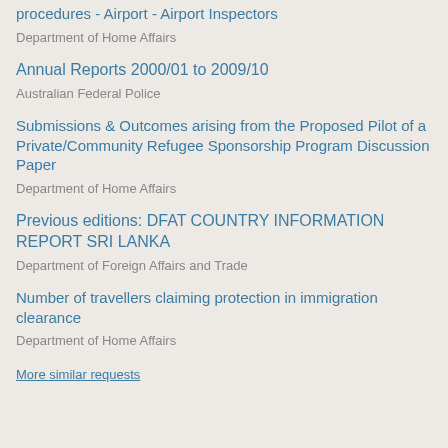procedures - Airport - Airport Inspectors
Department of Home Affairs
Annual Reports 2000/01 to 2009/10
Australian Federal Police
Submissions & Outcomes arising from the Proposed Pilot of a Private/Community Refugee Sponsorship Program Discussion Paper
Department of Home Affairs
Previous editions: DFAT COUNTRY INFORMATION REPORT SRI LANKA
Department of Foreign Affairs and Trade
Number of travellers claiming protection in immigration clearance
Department of Home Affairs
More similar requests